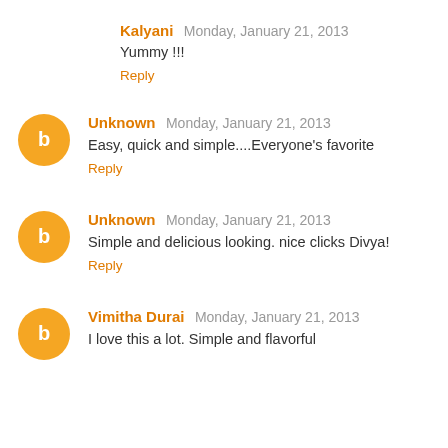Kalyani Monday, January 21, 2013
Yummy !!!
Reply
Unknown Monday, January 21, 2013
Easy, quick and simple....Everyone's favorite
Reply
Unknown Monday, January 21, 2013
Simple and delicious looking. nice clicks Divya!
Reply
Vimitha Durai Monday, January 21, 2013
I love this a lot. Simple and flavorful